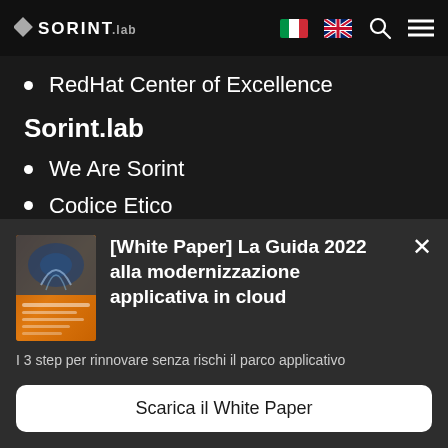SORINT.lab — navigation header with logo, Italian flag, UK flag, search icon, menu icon
RedHat Center of Excellence
Sorint.lab
We Are Sorint
Codice Etico
Skill ReFocus
OS Sorint Products
[Figure (screenshot): Orange book cover thumbnail for the White Paper]
[White Paper] La Guida 2022 alla modernizzazione applicativa in cloud
I 3 step per rinnovare senza rischi il parco applicativo
Scarica il White Paper